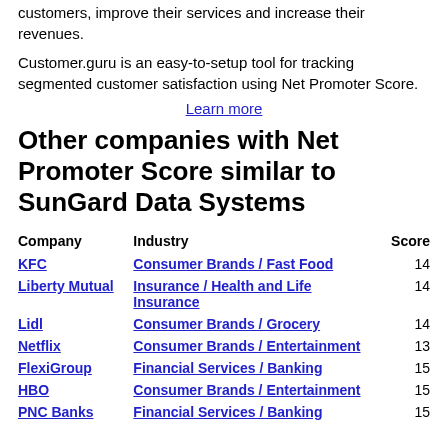customers, improve their services and increase their revenues.
Customer.guru is an easy-to-setup tool for tracking segmented customer satisfaction using Net Promoter Score.
Learn more
Other companies with Net Promoter Score similar to SunGard Data Systems
| Company | Industry | Score |
| --- | --- | --- |
| KFC | Consumer Brands / Fast Food | 14 |
| Liberty Mutual | Insurance / Health and Life Insurance | 14 |
| Lidl | Consumer Brands / Grocery | 14 |
| Netflix | Consumer Brands / Entertainment | 13 |
| FlexiGroup | Financial Services / Banking | 15 |
| HBO | Consumer Brands / Entertainment | 15 |
| PNC Banks | Financial Services / Banking | 15 |